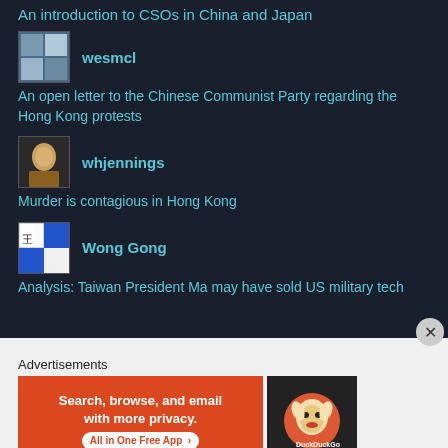An introduction to CSOs in China and Japan
wesmcl
An open letter to the Chinese Communist Party regarding the Hong Kong protests
whjennings
Murder is contagious in Hong Kong
Wong Gong
Analysis: Taiwan President Ma may have sold US military tech
Advertisements
[Figure (screenshot): DuckDuckGo advertisement banner: orange left panel with text 'Search, browse, and email with more privacy. All in One Free App' and dark right panel with DuckDuckGo duck logo]